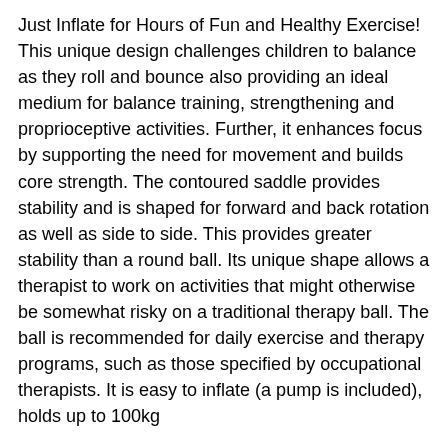Just Inflate for Hours of Fun and Healthy Exercise! This unique design challenges children to balance as they roll and bounce also providing an ideal medium for balance training, strengthening and proprioceptive activities. Further, it enhances focus by supporting the need for movement and builds core strength. The contoured saddle provides stability and is shaped for forward and back rotation as well as side to side. This provides greater stability than a round ball. Its unique shape allows a therapist to work on activities that might otherwise be somewhat risky on a traditional therapy ball. The ball is recommended for daily exercise and therapy programs, such as those specified by occupational therapists. It is easy to inflate (a pump is included), holds up to 100kg
Exercising with a Peanut Ball can provide help for children who struggles with attention, focus and behaviour issues in the classroom, which could be due to low muscle tone or poor balance and coordination. Exercises for strengthening the prone (tummy) and supine (back) may be helpful for learning in the classroom, handwriting, copying notes from the chalkboard, and listening to the teacher. A great addition for any Engine or